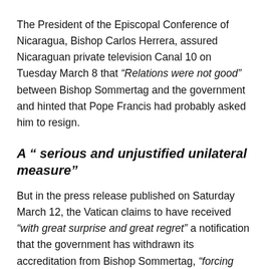The President of the Episcopal Conference of Nicaragua, Bishop Carlos Herrera, assured Nicaraguan private television Canal 10 on Tuesday March 8 that “Relations were not good” between Bishop Sommertag and the government and hinted that Pope Francis had probably asked him to resign.
A “ serious and unjustified unilateral measure”
But in the press release published on Saturday March 12, the Vatican claims to have received “with great surprise and great regret” a notification that the government has withdrawn its accreditation from Bishop Sommertag, “forcing him to immediately leave the country”. This order is “incomprehensible” considering his “dedication” to the Catholic Church and to the Nicaraguan people, regrets the Vatican, adding that Bishop Sommertag has always sought to maintain “ good relations ” with the government. “This